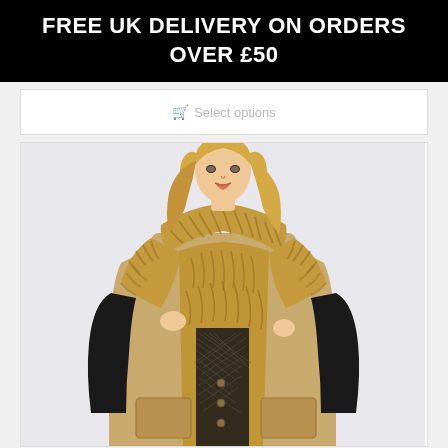FREE UK DELIVERY ON ORDERS OVER £50
🛒 Select options
[Figure (photo): A blonde female model wearing a camel-colored long faux fur-lined coat with black leather sleeves and a black bodysuit underneath, posing against a light grey background.]